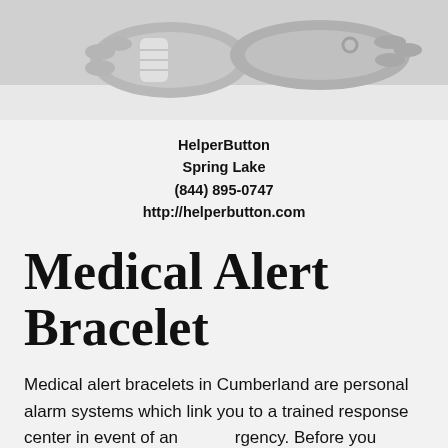[Figure (photo): Black and white photo of elderly person's wrists/hands, one with a medical bracelet/bandage]
HelperButton
Spring Lake
(844) 895-0747
http://helperbutton.com
Medical Alert Bracelet
Medical alert bracelets in Cumberland are personal alarm systems which link you to a trained response center in event of an emergency. Before you choose to use this type of system, there are a few things you should know, but taking advantage of the systems